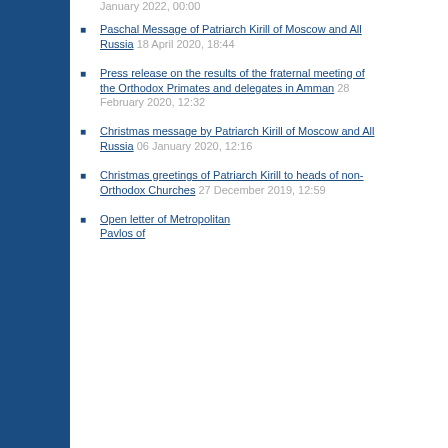January 2022, 00:00
Paschal Message of Patriarch Kirill of Moscow and All Russia 18 April 2020, 18:44
Press release on the results of the fraternal meeting of the Orthodox Primates and delegates in Amman 28 February 2020, 12:32
Christmas message by Patriarch Kirill of Moscow and All Russia 06 January 2020, 12:16
Christmas greetings of Patriarch Kirill to heads of non-Orthodox Churches 27 December 2019, 12:59
Open letter of Metropolitan Pavlos of...